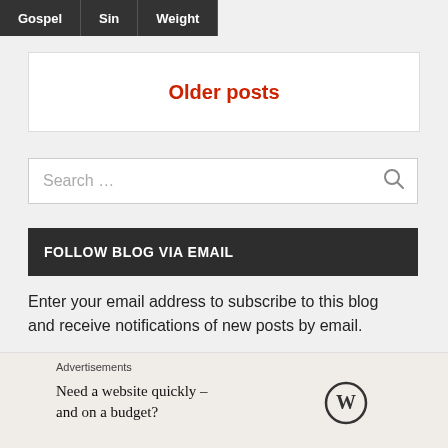Gospel | Sin | Weight
Older posts
Search ...
FOLLOW BLOG VIA EMAIL
Enter your email address to subscribe to this blog and receive notifications of new posts by email.
Enter your email address
Advertisements
Need a website quickly – and on a budget?